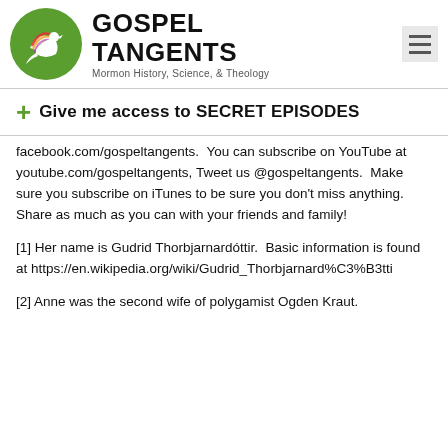[Figure (logo): Gospel Tangents logo with green circle containing a white dove/bird with colorful wing streaks, followed by bold text GOSPEL TANGENTS and subtitle Mormon History, Science, & Theology]
Give me access to SECRET EPISODES
facebook.com/gospeltangents.  You can subscribe on YouTube at youtube.com/gospeltangents, Tweet us @gospeltangents.  Make sure you subscribe on iTunes to be sure you don't miss anything.  Share as much as you can with your friends and family!
[1] Her name is Gudrid Thorbjarnardóttir.  Basic information is found at https://en.wikipedia.org/wiki/Gudrid_Thorbjarnard%C3%B3tti
[2] Anne was the second wife of polygamist Ogden Kraut.